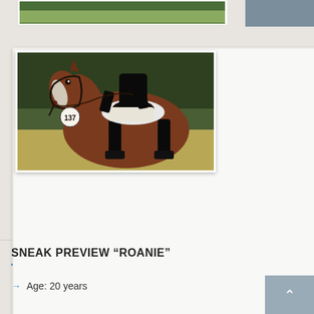[Figure (photo): Top partial strip showing a green outdoor field/grass scene, partially visible at top of page]
[Figure (photo): A chestnut roan horse with number 137 on its bridle, being ridden by a person in black dressage attire with white breeches, outdoors in a field. The horse has a wide blaze and is wearing a dark bridle.]
SNEAK PREVIEW “ROANIE”
Age: 20 years